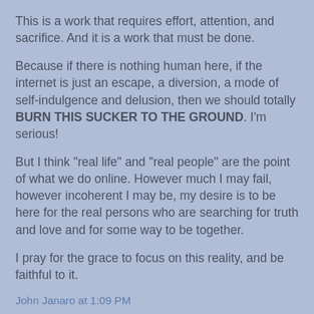This is a work that requires effort, attention, and sacrifice. And it is a work that must be done.
Because if there is nothing human here, if the internet is just an escape, a diversion, a mode of self-indulgence and delusion, then we should totally BURN THIS SUCKER TO THE GROUND. I'm serious!
But I think "real life" and "real people" are the point of what we do online. However much I may fail, however incoherent I may be, my desire is to be here for the real persons who are searching for truth and love and for some way to be together.
I pray for the grace to focus on this reality, and be faithful to it.
John Janaro at 1:09 PM